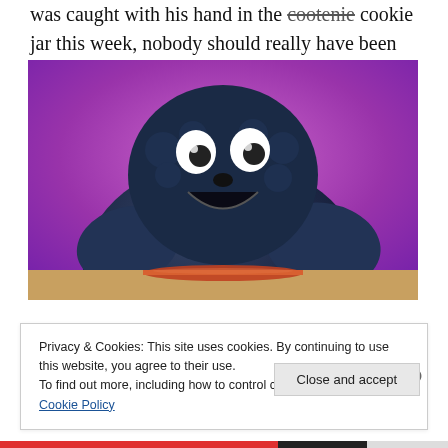was caught with his hand in the cookie [strikethrough: cookie] jar this week, nobody should really have been surprised.
[Figure (photo): Cookie Monster puppet with dark blue fur looking upward against a pink/purple background, with an empty plate on a surface in front of him.]
Privacy & Cookies: This site uses cookies. By continuing to use this website, you agree to their use.
To find out more, including how to control cookies, see here: Cookie Policy
Close and accept